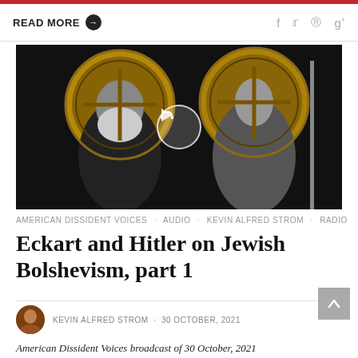READ MORE · social icons: f, twitter, p, g+
[Figure (photo): Black and white image of two figures posed as saints with gold Byzantine-style halos against a dark background, with a circular audio play button overlay in the center]
AMERICAN DISSIDENT VOICES · AUDIO · KEVIN ALFRED STROM · RADIO
Eckart and Hitler on Jewish Bolshevism, part 1
KEVIN ALFRED STROM · 30 OCTOBER, 2021
American Dissident Voices broadcast of 30 October, 2021